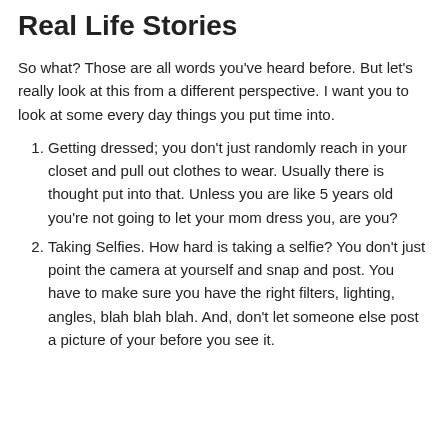Real Life Stories
So what? Those are all words you've heard before. But let's really look at this from a different perspective. I want you to look at some every day things you put time into.
Getting dressed; you don't just randomly reach in your closet and pull out clothes to wear. Usually there is thought put into that. Unless you are like 5 years old you're not going to let your mom dress you, are you?
Taking Selfies. How hard is taking a selfie? You don't just point the camera at yourself and snap and post. You have to make sure you have the right filters, lighting, angles, blah blah blah. And, don't let someone else post a picture of your before you see it.